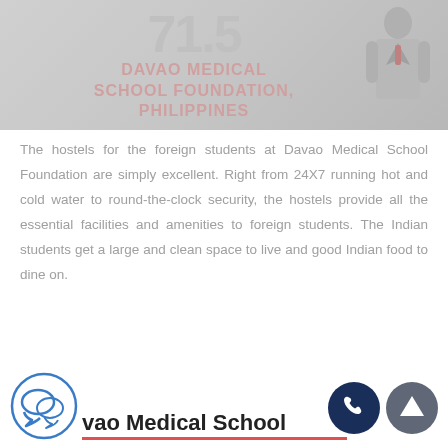[Figure (photo): Davao Medical School Foundation promotional banner with rating number 71.5, school name text overlay, and a person in suit on the right side]
The hostels for the foreign students at Davao Medical School Foundation are simply excellent. Right from 24X7 running hot and cold water to round-the-clock security, the hostels provide all the essential facilities and amenities to foreign students. The Indian students get a large and clean space to live and good Indian food to dine on.
Davao Medical School